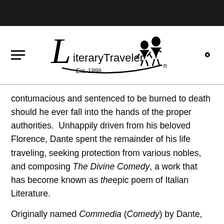[Figure (logo): Literary Traveler logo with script L, text 'LiteraryTraveler', silhouette of two figures on a boat, Est. 1998, registered trademark symbol]
contumacious and sentenced to be burned to death should he ever fall into the hands of the proper authorities.  Unhappily driven from his beloved Florence, Dante spent the remainder of his life traveling, seeking protection from various nobles, and composing The Divine Comedy, a work that has become known as theepic poem of Italian Literature.
Originally named Commedia (Comedy) by Dante, the poem became known as La Divina Commedia (The Divine Comedy) in 1555, in an edition produced in Venice.  It is composed of an introductory canto